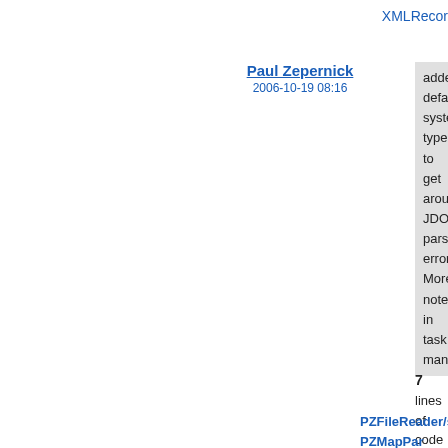XMLRecor
Paul Zepernick
2006-10-19 08:16
added default system type to get around JDOM parse error. More notes in task manager
7
lines
of
code
changed
in:
PZFileReader/src/ma
PZMapPar